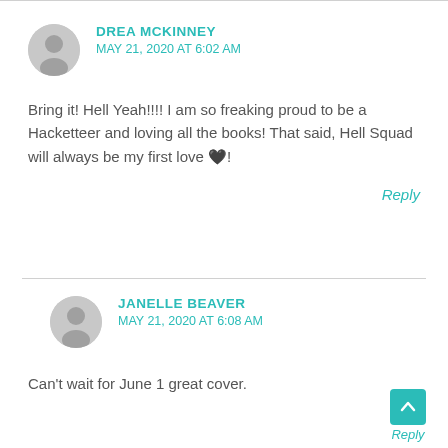DREA MCKINNEY
MAY 21, 2020 AT 6:02 AM
Bring it! Hell Yeah!!!! I am so freaking proud to be a Hacketteer and loving all the books! That said, Hell Squad will always be my first love 🖤!
Reply
JANELLE BEAVER
MAY 21, 2020 AT 6:08 AM
Can't wait for June 1 great cover.
Reply